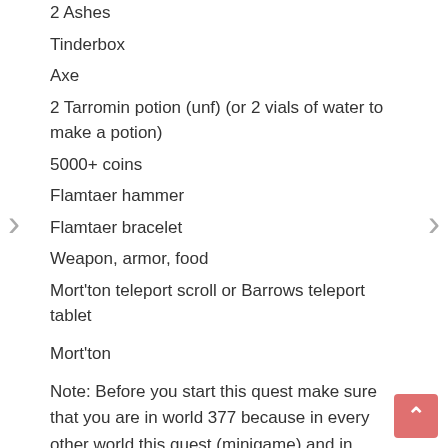2 Ashes
Tinderbox
Axe
2 Tarromin potion (unf) (or 2 vials of water to make a potion)
5000+ coins
Flamtaer hammer
Flamtaer bracelet
Weapon, armor, food
Mort'ton teleport scroll or Barrows teleport tablet
Mort'ton
Note: Before you start this quest make sure that you are in world 377 because in every other world this quest (minigame) and in Mort'ton itself there will be no one